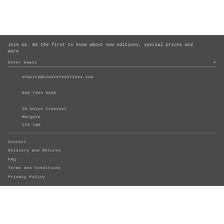Join us. Be the first to know about new editions, special prices and more
Enter Email
enquire@countereditions.com
020 7684 8888
28 Union Crescent
Margate
CT9 1NS
Contact
Delivery and Returns
FAQ
Terms and Conditions
Privacy Policy